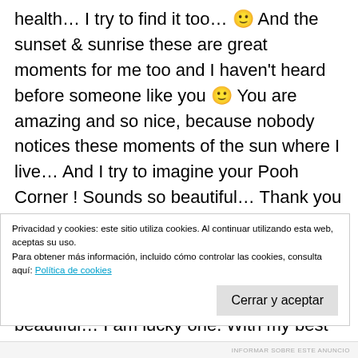health… I try to find it too… 🙂 And the sunset & sunrise these are great moments for me too and I haven't heard before someone like you 🙂 You are amazing and so nice, because nobody notices these moments of the sun where I live… And I try to imagine your Pooh Corner ! Sounds so beautiful… Thank you dear José, you know, I met Mallorca Island with great musician Chopin and then you are the second one from this beautiful island that I know… How beautiful… I am lucky one. With my best wishes, love, nia
Privacidad y cookies: este sitio utiliza cookies. Al continuar utilizando esta web, aceptas su uso.
Para obtener más información, incluido cómo controlar las cookies, consulta aquí: Política de cookies
Cerrar y aceptar
INFORMAR SOBRE ESTE ANUNCIO